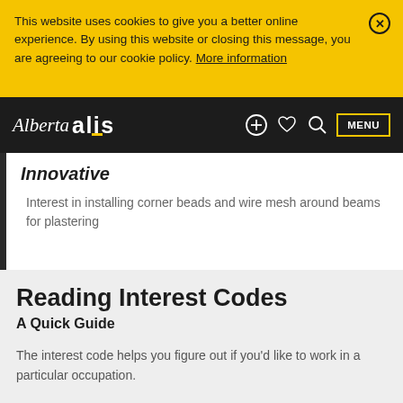This website uses cookies to give you a better online experience. By using this website or closing this message, you are agreeing to our cookie policy. More information
Alberta alis — navigation bar with MENU, search, favourites, and add icons
Innovative
Interest in installing corner beads and wire mesh around beams for plastering
Reading Interest Codes
A Quick Guide
The interest code helps you figure out if you'd like to work in a particular occupation.